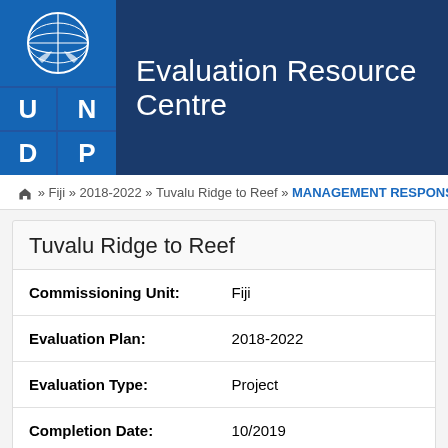Evaluation Resource Centre
Home » Fiji » 2018-2022 » Tuvalu Ridge to Reef » MANAGEMENT RESPONSE
Tuvalu Ridge to Reef
| Field | Value |
| --- | --- |
| Commissioning Unit: | Fiji |
| Evaluation Plan: | 2018-2022 |
| Evaluation Type: | Project |
| Completion Date: | 10/2019 |
| Unit Responsible for providing | Fiji |